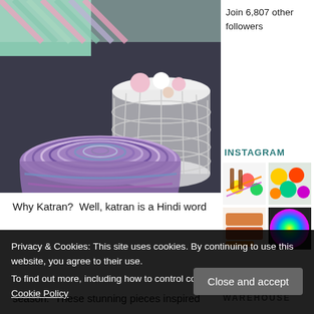[Figure (photo): Photo of a crocheted colorful round stool with wooden legs, beside a white side table with yarn balls and accessories on top, on a dark carpet. A colorful crocheted blanket is in the background.]
Join 6,807 other followers
INSTAGRAM
[Figure (photo): Instagram thumbnail: bright neon yarn and crochet hooks on white background]
[Figure (photo): Instagram thumbnail: neon yarn balls with crochet hooks]
[Figure (photo): Instagram thumbnail: colorful yarn skeins]
[Figure (photo): Instagram thumbnail: multicolored rainbow ball of yarn]
Why Katran?  Well, katran is a Hindi word
season.  These stunning pieces inspired
WAREHOUSE
Privacy & Cookies: This site uses cookies. By continuing to use this website, you agree to their use.
To find out more, including how to control cookies, see here: Our Cookie Policy
Close and accept